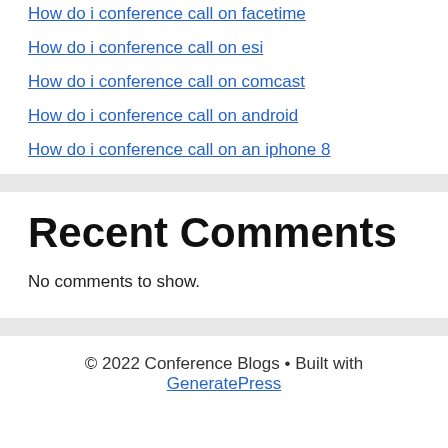How do i conference call on facetime
How do i conference call on esi
How do i conference call on comcast
How do i conference call on android
How do i conference call on an iphone 8
Recent Comments
No comments to show.
© 2022 Conference Blogs • Built with GeneratePress